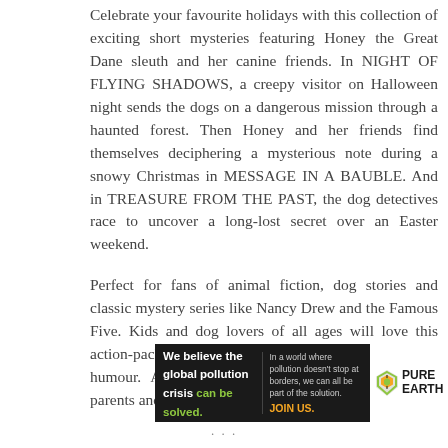Celebrate your favourite holidays with this collection of exciting short mysteries featuring Honey the Great Dane sleuth and her canine friends. In NIGHT OF FLYING SHADOWS, a creepy visitor on Halloween night sends the dogs on a dangerous mission through a haunted forest. Then Honey and her friends find themselves deciphering a mysterious note during a snowy Christmas in MESSAGE IN A BAUBLE. And in TREASURE FROM THE PAST, the dog detectives race to uncover a long-lost secret over an Easter weekend.
Perfect for fans of animal fiction, dog stories and classic mystery series like Nancy Drew and the Famous Five. Kids and dog lovers of all ages will love this action-packed collection filled with suspense and humour. A great middle-grade read or a book for parents and
[Figure (infographic): Advertisement banner for Pure Earth. Black background on left with text: 'We believe the global pollution crisis can be solved.' (can be solved in green). Center text: 'In a world where pollution doesn't stop at borders, we can all be part of the solution. JOIN US.' (JOIN US in yellow/orange). Right side: Pure Earth logo with diamond/arrow icon in orange/green and text 'PURE EARTH' in bold.]